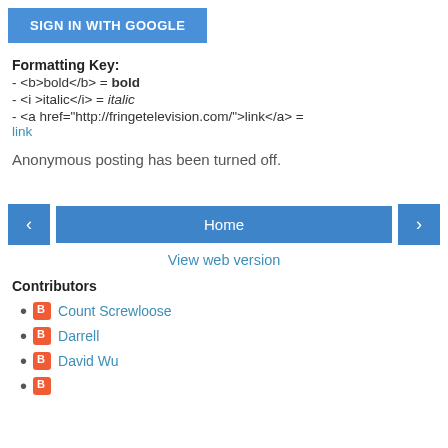[Figure (screenshot): Blue 'SIGN IN WITH GOOGLE' button]
Formatting Key:
- <b>bold</b> = bold
- <i >italic</i> = italic
- <a href="http://fringetelevision.com/">link</a> = link
Anonymous posting has been turned off.
[Figure (screenshot): Navigation buttons: left arrow, Home, right arrow]
View web version
Contributors
Count Screwloose
Darrell
David Wu